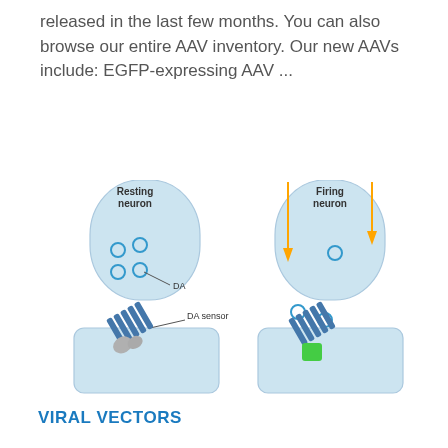released in the last few months. You can also browse our entire AAV inventory. Our new AAVs include: EGFP-expressing AAV ...
[Figure (illustration): Two-panel scientific diagram illustrating a resting neuron (left) and a firing neuron (right). The resting neuron panel shows a blue rounded cell body containing four cyan dopamine (DA) circles, with a label 'DA' and a callout line. Below is a post-synaptic cell with a DA sensor shown as a blue helical structure with grey receptor. The firing neuron panel shows orange arrows pointing downward into the cell, one cyan dopamine circle inside the neuron, and two cyan circles outside below. Below is a post-synaptic cell with the DA sensor bound to a green ligand.]
VIRAL VECTORS